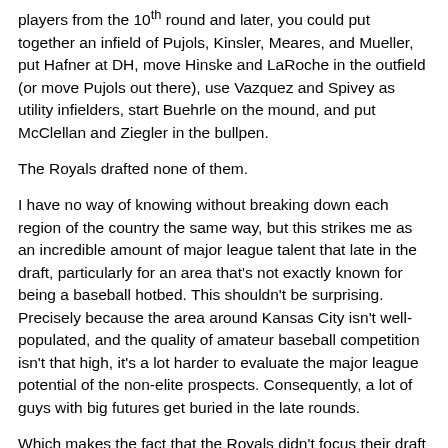players from the 10th round and later, you could put together an infield of Pujols, Kinsler, Meares, and Mueller, put Hafner at DH, move Hinske and LaRoche in the outfield (or move Pujols out there), use Vazquez and Spivey as utility infielders, start Buehrle on the mound, and put McClellan and Ziegler in the bullpen.
The Royals drafted none of them.
I have no way of knowing without breaking down each region of the country the same way, but this strikes me as an incredible amount of major league talent that late in the draft, particularly for an area that's not exactly known for being a baseball hotbed. This shouldn't be surprising. Precisely because the area around Kansas City isn't well-populated, and the quality of amateur baseball competition isn't that high, it's a lot harder to evaluate the major league potential of the non-elite prospects. Consequently, a lot of guys with big futures get buried in the late rounds.
Which makes the fact that the Royals didn't focus their draft efforts in their own backyard for so long a criminal offense. The closest the Royals got to a late-round find in that area